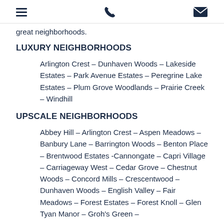[menu icon] [phone icon] [mail icon]
great neighborhoods.
LUXURY NEIGHBORHOODS
Arlington Crest – Dunhaven Woods – Lakeside Estates – Park Avenue Estates – Peregrine Lake Estates – Plum Grove Woodlands – Prairie Creek – Windhill
UPSCALE NEIGHBORHOODS
Abbey Hill – Arlington Crest – Aspen Meadows – Banbury Lane – Barrington Woods – Benton Place – Brentwood Estates -Cannongate – Capri Village – Carriageway West – Cedar Grove – Chestnut Woods – Concord Mills – Crescentwood – Dunhaven Woods – English Valley – Fair Meadows – Forest Estates – Forest Knoll – Glen Tyan Manor – Groh's Green –